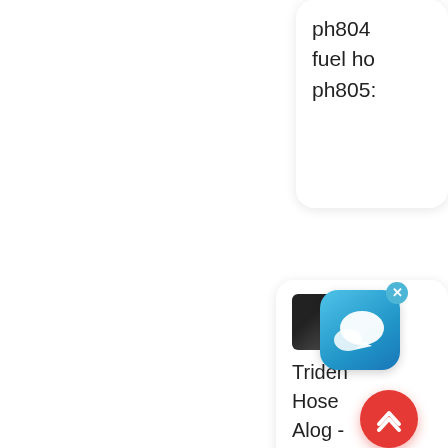ph804
fuel ho
ph805:
[Figure (screenshot): Chat app icon overlay with close button (X) on a thumbnail image, with text below: Triden Hose Alog - Home | Triden Marine | Hose, Wet]
Triden
Hose
Alog -
Home
|
Triden
Marine
|
Hose,
Wet